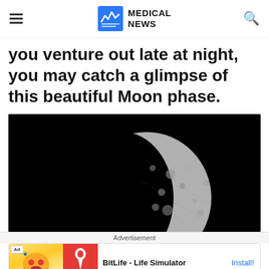MEDICAL NEWS
you venture out late at night, you may catch a glimpse of this beautiful Moon phase.
[Figure (photo): Close-up photograph of a gibbous Moon against a black night sky, showing detailed crater texture on the illuminated portion.]
Advertisement
Ad BitLife - Life Simulator Install!